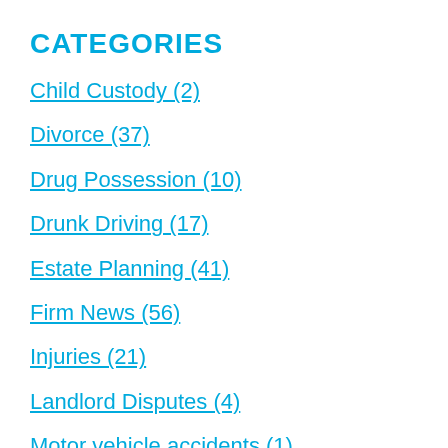CATEGORIES
Child Custody (2)
Divorce (37)
Drug Possession (10)
Drunk Driving (17)
Estate Planning (41)
Firm News (56)
Injuries (21)
Landlord Disputes (4)
Motor vehicle accidents (1)
Uncategorized (9)
ARCHIVES
August 2022 (3)